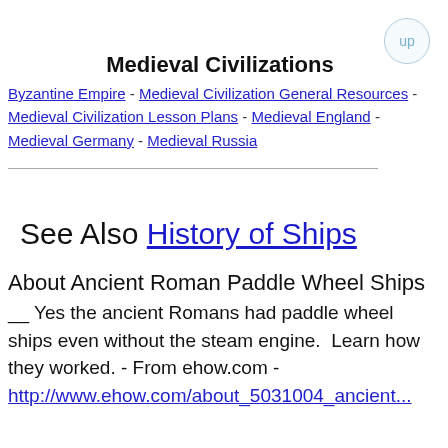Medieval Civilizations
Byzantine Empire - Medieval Civilization General Resources - Medieval Civilization Lesson Plans - Medieval England - Medieval Germany - Medieval Russia
See Also History of Ships
About Ancient Roman Paddle Wheel Ships
__ Yes the ancient Romans had paddle wheel ships even without the steam engine.  Learn how they worked. - From ehow.com - http://www.ehow.com/about_5031004_ancient...